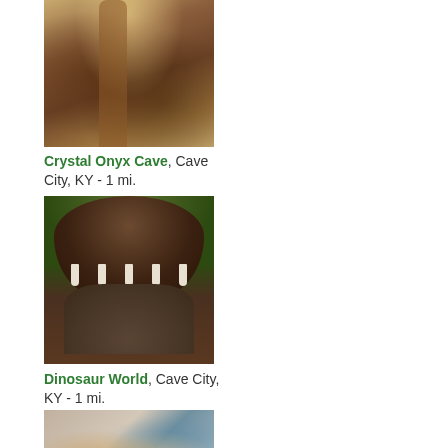[Figure (photo): Photo of cave interior with stalactites and rock formations, Crystal Onyx Cave]
Crystal Onyx Cave, Cave City, KY - 1 mi.
[Figure (photo): Photo of a child posing inside a large dinosaur mouth sculpture, Dinosaur World]
Dinosaur World, Cave City, KY - 1 mi.
[Figure (photo): Photo of a shop interior with a clown figure and various items]